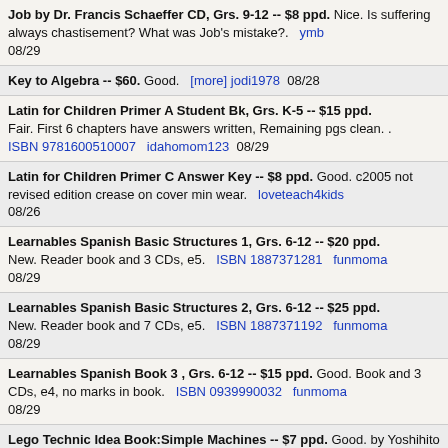Job by Dr. Francis Schaeffer CD, Grs. 9-12 -- $8 ppd. Nice. Is suffering always chastisement? What was Job's mistake?. ymb 08/29
Key to Algebra -- $60. Good. [more] jodi1978 08/28
Latin for Children Primer A Student Bk, Grs. K-5 -- $15 ppd. Fair. First 6 chapters have answers written, Remaining pgs clean. . ISBN 9781600510007 idahomom123 08/29
Latin for Children Primer C Answer Key -- $8 ppd. Good. c2005 not revised edition crease on cover min wear. loveteach4kids 08/26
Learnables Spanish Basic Structures 1, Grs. 6-12 -- $20 ppd. New. Reader book and 3 CDs, e5. ISBN 1887371281 funmoma 08/29
Learnables Spanish Basic Structures 2, Grs. 6-12 -- $25 ppd. New. Reader book and 7 CDs, e5. ISBN 1887371192 funmoma 08/29
Learnables Spanish Book 3 , Grs. 6-12 -- $15 ppd. Good. Book and 3 CDs, e4, no marks in book. ISBN 0939990032 funmoma 08/29
Lego Technic Idea Book:Simple Machines -- $7 ppd. Good. by Yoshihito Isogawa, Vol. 1, c2011, Lego physics, paperback. ISBN 1593272774 jacblily_joys 08/26
Life of Fred Australia -- $18 ppd. Nice. Life of Fred's 1st book in the Language Arts series. ISBN 1937032124 mommommom 08/27